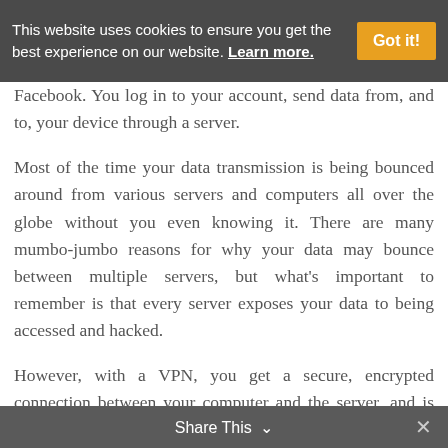This website uses cookies to ensure you get the best experience on our website. Learn more. Got it!
Facebook. You log in to your account, send data from, and to, your device through a server.
Most of the time your data transmission is being bounced around from various servers and computers all over the globe without you even knowing it. There are many mumbo-jumbo reasons for why your data may bounce between multiple servers, but what's important to remember is that every server exposes your data to being accessed and hacked.
However, with a VPN, you get a secure, encrypted connection between your computer and the server, and is the easiest way to think about what a VPN does. When connected via a VPN like the one
Share This